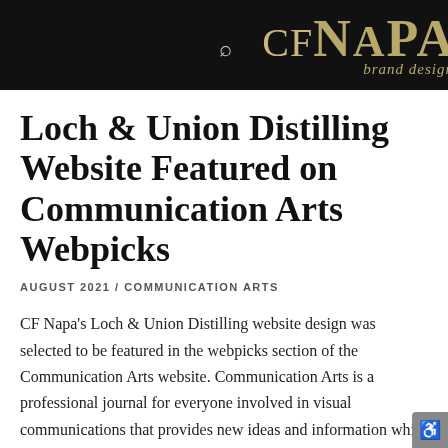CFNAPA brand design
Loch & Union Distilling Website Featured on Communication Arts Webpicks
AUGUST 2021 / COMMUNICATION ARTS
CF Napa's Loch & Union Distilling website design was selected to be featured in the webpicks section of the Communication Arts website. Communication Arts is a professional journal for everyone involved in visual communications that provides new ideas and information while promoting the highest professional standards for the field. To read the article, click here.